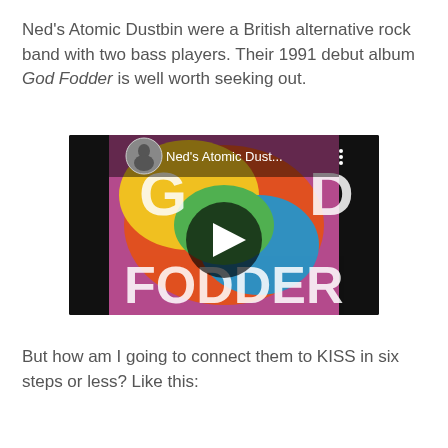Ned's Atomic Dustbin were a British alternative rock band with two bass players. Their 1991 debut album God Fodder is well worth seeking out.
[Figure (screenshot): YouTube video thumbnail for Ned's Atomic Dustbin showing the God Fodder album artwork with colorful psychedelic design and a play button overlay. Video title shown as 'Ned's Atomic Dust...' with a circular profile thumbnail in top left.]
But how am I going to connect them to KISS in six steps or less? Like this: